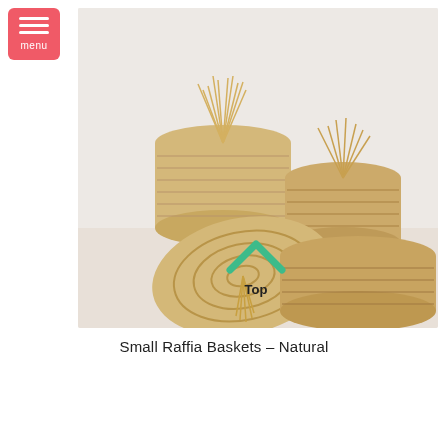[Figure (photo): Three small natural raffia woven baskets with dried grass/straw handles, arranged in a group against a white brick wall background. One basket has a circular lid leaning against it. A teal/green upward-pointing chevron arrow and the word 'Top' are overlaid on the photo. A red/coral hamburger menu icon with the word 'menu' is in the upper left corner.]
Small Raffia Baskets – Natural